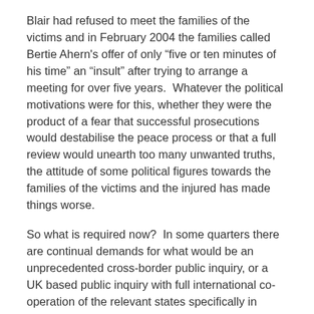Blair had refused to meet the families of the victims and in February 2004 the families called Bertie Ahern's offer of only “five or ten minutes of his time” an “insult” after trying to arrange a meeting for over five years.  Whatever the political motivations were for this, whether they were the product of a fear that successful prosecutions would destabilise the peace process or that a full review would unearth too many unwanted truths, the attitude of some political figures towards the families of the victims and the injured has made things worse.
So what is required now?  In some quarters there are continual demands for what would be an unprecedented cross-border public inquiry, or a UK based public inquiry with full international co-operation of the relevant states specifically in relation to disclosure of evidence and the compelling of witnesses.  That is one possibility.  There are those in Omagh who wish not to be so involved in continuing activities, and those wishes, as NIAC noted in